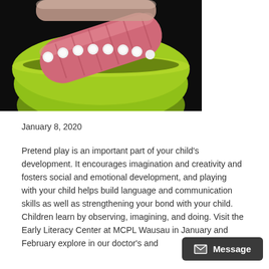[Figure (photo): Close-up photo of a child's hand holding a pink cylindrical object (toy or food item) over a bright green bowl with small white round objects (possibly marshmallows or beads) on a dark background.]
January 8, 2020
Pretend play is an important part of your child’s development. It encourages imagination and creativity and fosters social and emotional development, and playing with your child helps build language and communication skills as well as strengthening your bond with your child. Children learn by observing, imagining, and doing. Visit the Early Literacy Center at MCPL Wausau in January and February explore in our doctor’s and